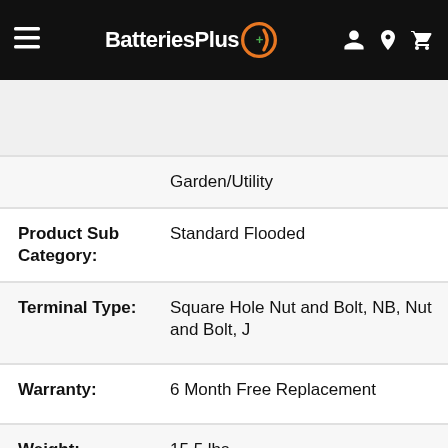[Figure (screenshot): BatteriesPlus website navigation bar with hamburger menu, logo, and icons for account, location, and cart]
[Figure (screenshot): Search bar with All dropdown and Find Batteries and Products placeholder text]
| Attribute | Value |
| --- | --- |
|  | Garden/Utility |
| Product Sub Category: | Standard Flooded |
| Terminal Type: | Square Hole Nut and Bolt, NB, Nut and Bolt, J |
| Warranty: | 6 Month Free Replacement |
| Weight: | 15.5 lbs |
| Length: | 7.75 in |
| Width: | 5.125 in |